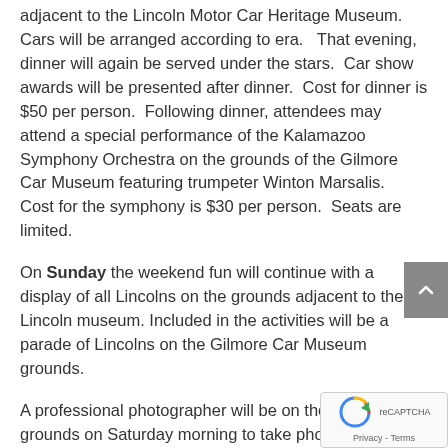adjacent to the Lincoln Motor Car Heritage Museum. Cars will be arranged according to era.   That evening, dinner will again be served under the stars.  Car show awards will be presented after dinner.  Cost for dinner is $50 per person.  Following dinner, attendees may attend a special performance of the Kalamazoo Symphony Orchestra on the grounds of the Gilmore Car Museum featuring trumpeter Winton Marsalis.  Cost for the symphony is $30 per person.  Seats are limited.
On Sunday the weekend fun will continue with a display of all Lincolns on the grounds adjacent to the Lincoln museum. Included in the activities will be a parade of Lincolns on the Gilmore Car Museum grounds.
A professional photographer will be on the museum grounds on Saturday morning to take photographs of individual Lincolns by appointment. Complete details